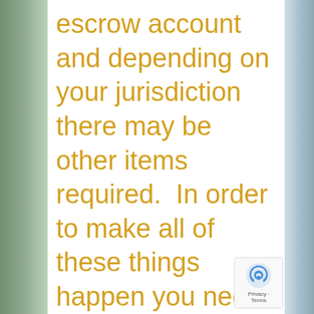escrow account and depending on your jurisdiction there may be other items required.  In order to make all of these things happen you need a really great entertainment lawyer who is also very familiar with films involving